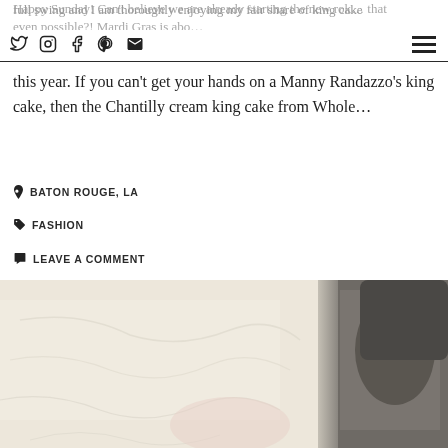Happy Sunday! Can't believe we are already starting the new... [social icons: Twitter, Instagram, Facebook, Pinterest, Email] [hamburger menu]
this year. If you can't get your hands on a Manny Randazzo's king cake, then the Chantilly cream king cake from Whole…
📍 BATON ROUGE, LA
🏷 FASHION
💬 LEAVE A COMMENT
VIEW POST
Share:
[Figure (photo): Close-up photo of light cream/beige textured fabric with a dark object (shoe or accessory) visible in the upper right corner]